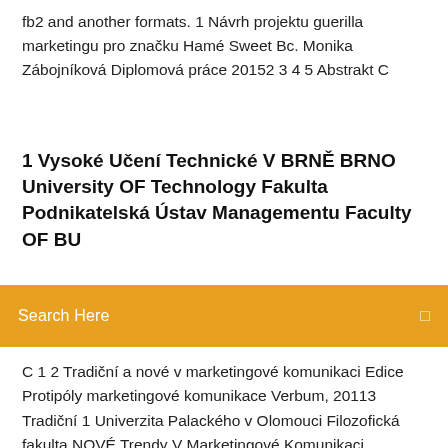fb2 and another formats. 1 Návrh projektu guerilla marketingu pro značku Hamé Sweet Bc. Monika Zábojníková Diplomová práce 20152 3 4 5 Abstrakt C
1 Vysoké Učení Technické V BRNĚ BRNO University OF Technology Fakulta Podnikatelská Ústav Managementu Faculty OF BU
Search Here
C 1 2 Tradiční a nové v marketingové komunikaci Edice Protipóly marketingové komunikace Verbum, 20113 Tradiční 1 Univerzita Palackého v Olomouci Filozofická fakulta NOVÉ Trendy V Marketingové Komunikaci, Aplikace Trendů VE Firmě Di 1 Západočeská Univerzita V Plzni Fakulta Ekonomická Bakalářská práce Guerilla marketing a možnosti aplikace pro Techmani 1 Nové formy marketingové komunikace a jejich místo v komunikačním mixu Marek Kozel Bakalářská práce 1 Vysoká škola ekonomická v Praze Diplomová práce 2007 Petr Ptáček2